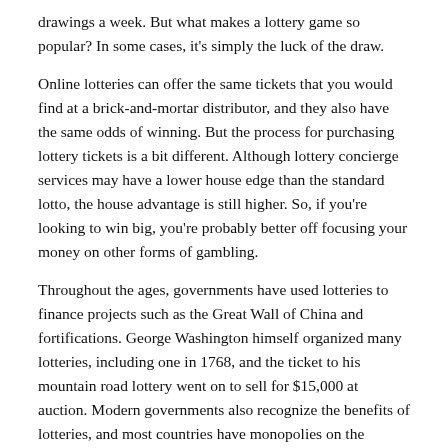drawings a week. But what makes a lottery game so popular? In some cases, it's simply the luck of the draw.
Online lotteries can offer the same tickets that you would find at a brick-and-mortar distributor, and they also have the same odds of winning. But the process for purchasing lottery tickets is a bit different. Although lottery concierge services may have a lower house edge than the standard lotto, the house advantage is still higher. So, if you're looking to win big, you're probably better off focusing your money on other forms of gambling.
Throughout the ages, governments have used lotteries to finance projects such as the Great Wall of China and fortifications. George Washington himself organized many lotteries, including one in 1768, and the ticket to his mountain road lottery went on to sell for $15,000 at auction. Modern governments also recognize the benefits of lotteries, and most countries have monopolies on the market. Besides the profits from lotteries, the government can also help the poor and the needy.
Online lottery websites are convenient and easy to use. You can choose your numbers and purchase tickets, all while comparing odds and current jackpots. The players get to choose the special